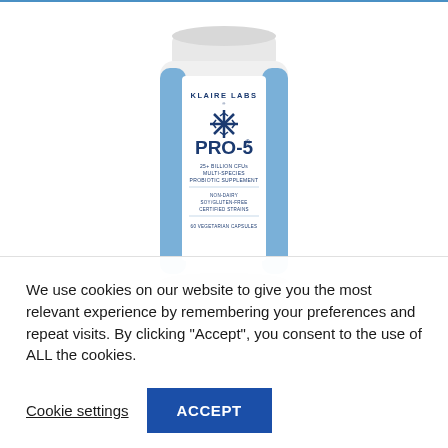[Figure (photo): Klaire Labs PRO-5 probiotic supplement bottle. White plastic bottle with blue accents on sides, white cap. Label reads: KLAIRE LABS, snowflake icon, PRO-5, 25+ BILLION CFUs MULTI-SPECIES PROBIOTIC SUPPLEMENT, NON-DAIRY, SOY/GLUTEN-FREE, CERTIFIED STRAINS, 60 VEGETARIAN CAPSULES.]
We use cookies on our website to give you the most relevant experience by remembering your preferences and repeat visits. By clicking "Accept", you consent to the use of ALL the cookies.
Cookie settings
ACCEPT